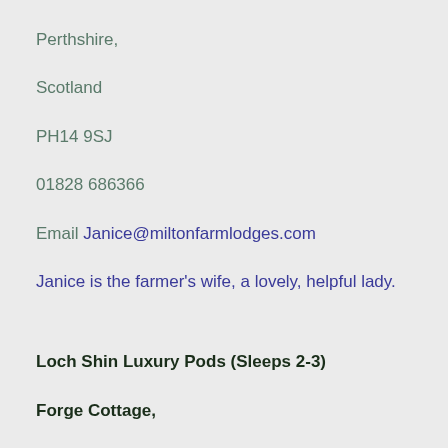Perthshire,
Scotland
PH14 9SJ
01828 686366
Email Janice@miltonfarmlodges.com
Janice is the farmer's wife, a lovely, helpful lady.
Loch Shin Luxury Pods (Sleeps 2-3)
Forge Cottage,